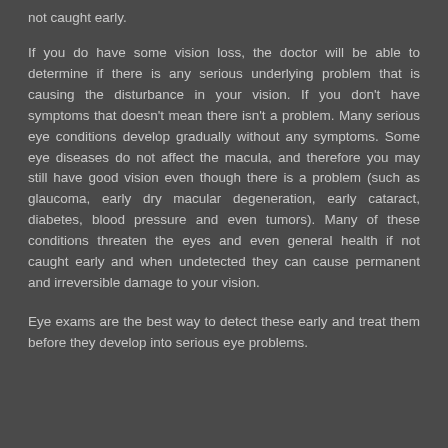not caught early.
If you do have some vision loss, the doctor will be able to determine if there is any serious underlying problem that is causing the disturbance in your vision. If you don't have symptoms that doesn't mean there isn't a problem. Many serious eye conditions develop gradually without any symptoms. Some eye diseases do not affect the macula, and therefore you may still have good vision even though there is a problem (such as glaucoma, early dry macular degeneration, early cataract, diabetes, blood pressure and even tumors). Many of these conditions threaten the eyes and even general health if not caught early and when undetected they can cause permanent and irreversible damage to your vision.
Eye exams are the best way to detect these early and treat them before they develop into serious eye problems.